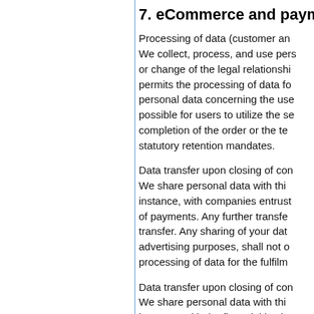7. eCommerce and payment
Processing of data (customer and We collect, process, and use pers or change of the legal relationshi permits the processing of data fo personal data concerning the use possible for users to utilize the s completion of the order or the te statutory retention mandates.
Data transfer upon closing of cor We share personal data with thi instance, with companies entrust of payments. Any further transfe transfer. Any sharing of your dat advertising purposes, shall not o processing of data for the fulfil
Data transfer upon closing of cor We share personal data with thi instance, with the financial insti